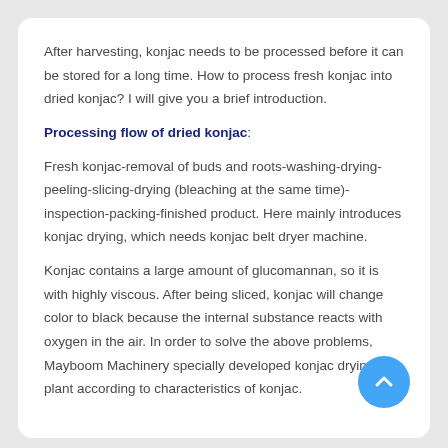After harvesting, konjac needs to be processed before it can be stored for a long time. How to process fresh konjac into dried konjac? I will give you a brief introduction.
Processing flow of dried konjac:
Fresh konjac-removal of buds and roots-washing-drying-peeling-slicing-drying (bleaching at the same time)-inspection-packing-finished product. Here mainly introduces konjac drying, which needs konjac belt dryer machine.
Konjac contains a large amount of glucomannan, so it is with highly viscous. After being sliced, konjac will change color to black because the internal substance reacts with oxygen in the air. In order to solve the above problems, Mayboom Machinery specially developed konjac drying plant according to characteristics of konjac.